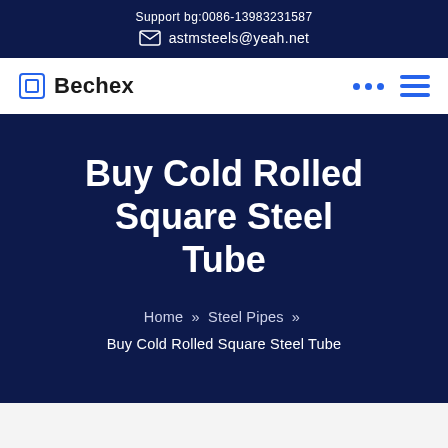Support bg:0086-13983231587
astmsteels@yeah.net
Bechex
Buy Cold Rolled Square Steel Tube
Home » Steel Pipes » Buy Cold Rolled Square Steel Tube